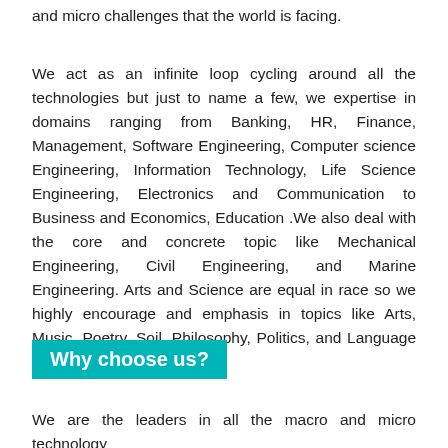and micro challenges that the world is facing.
We act as an infinite loop cycling around all the technologies but just to name a few, we expertise in domains ranging from Banking, HR, Finance, Management, Software Engineering, Computer science Engineering, Information Technology, Life Science Engineering, Electronics and Communication to Business and Economics, Education .We also deal with the core and concrete topic like Mechanical Engineering, Civil Engineering, and Marine Engineering. Arts and Science are equal in race so we highly encourage and emphasis in topics like Arts, Music, Poetry, Soil, Philosophy, Politics, and Language and so on.
Why choose us?
We are the leaders in all the macro and micro technology